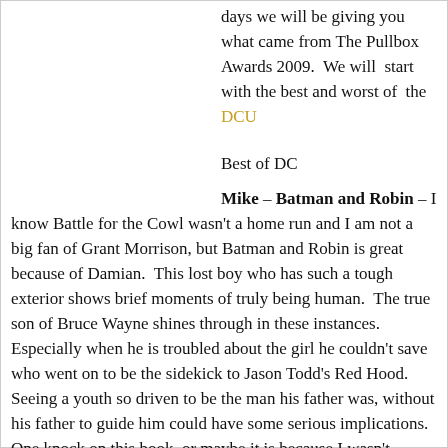days we will be giving you what came from The Pullbox Awards 2009.  We will  start with the best and worst of  the DCU
Best of DC
Mike – Batman and Robin – I know Battle for the Cowl wasn't a home run and I am not a big fan of Grant Morrison, but Batman and Robin is great because of Damian.  This lost boy who has such a tough exterior shows brief moments of truly being human.  The true son of Bruce Wayne shines through in these instances.  Especially when he is troubled about the girl he couldn't save who went on to be the sidekick to Jason Todd's Red Hood.  Seeing a youth so driven to be the man his father was, without his father to guide him could have some serious implications.  One knock on this book, or maybe it is because I wasn't cognizant at the time, but why have a story point